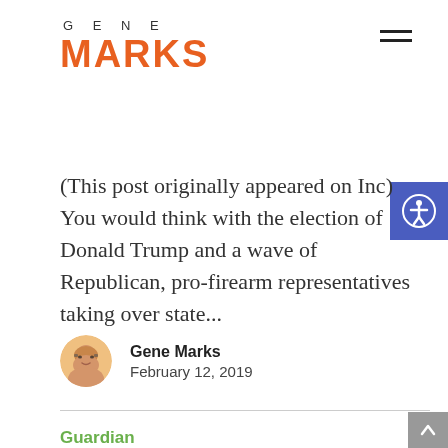GENE MARKS
(This post originally appeared on Inc) You would think with the election of Donald Trump and a wave of Republican, pro-firearm representatives taking over state...
Gene Marks
February 12, 2019
Guardian